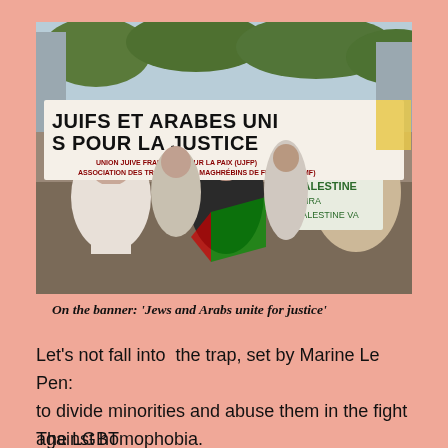[Figure (photo): A protest march photo showing demonstrators carrying a large white banner reading 'JUIFS ET ARABES UNIS POUR LA JUSTICE' (Jews and Arabs united for justice) with sub-text 'UNION JUIVE FRANÇAISEPOUR LA PAIX (UJFP) ASSOCIATION DES TRAVAILLEURS MAGHREBINS DE FRANCE (ATMF)'. In the foreground, women march; one holds a Palestinian flag. A green sign reading 'PALESTINE VNRA PALESTINE VA' is visible in the background.]
On the banner: 'Jews and Arabs unite for justice'
Let's not fall into  the trap, set by Marine Le Pen: to divide minorities and abuse them in the fight against homophobia.
The LGBT...